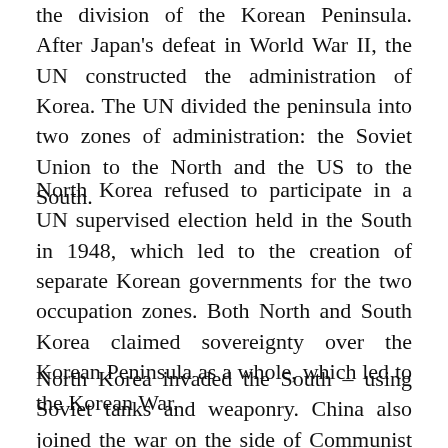the division of the Korean Peninsula. After Japan's defeat in World War II, the UN constructed the administration of Korea. The UN divided the peninsula into two zones of administration: the Soviet Union to the North and the US to the South.
North Korea refused to participate in a UN supervised election held in the South in 1948, which led to the creation of separate Korean governments for the two occupation zones. Both North and South Korea claimed sovereignty over the Korean Peninsula as a whole, which led to the Korean War.
North Korea invaded the South – using Soviet tanks and weaponry. China also joined the war on the side of Communist North Korea, with the